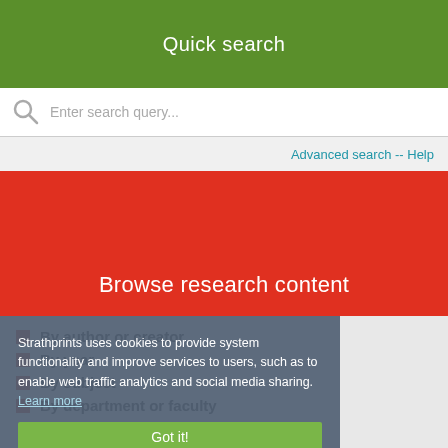Quick search
Enter search query...
Advanced search -- Help
Browse research content
By author or creator
By year
By subject
By department or faculty
Strathprints uses cookies to provide system functionality and improve services to users, such as to enable web traffic analytics and social media sharing. Learn more
Got it!